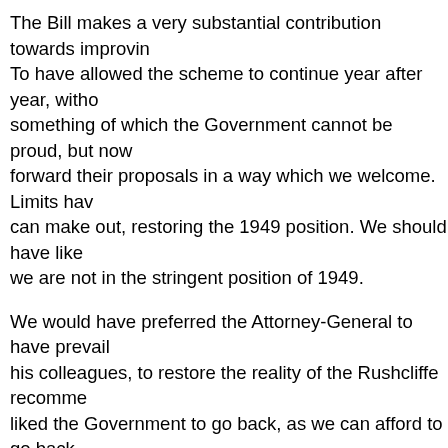The Bill makes a very substantial contribution towards improving. To have allowed the scheme to continue year after year, without something of which the Government cannot be proud, but now forward their proposals in a way which we welcome. Limits have can make out, restoring the 1949 position. We should have like we are not in the stringent position of 1949.
We would have preferred the Attorney-General to have prevailed his colleagues, to restore the reality of the Rushcliffe recomme liked the Government to go back, as we can afford to go back, than to the position which prevailed when the 1949 Act was pa 1949 Act position, and that we welcome.
We also welcome the provision for raising the limits by regulati we are to have, as we have had over recent years, continuing have a comparatively quick method of dealing with the problen substantial advantage. to which the Attorney-General referred, contribution from the disposable income being reduced from a
What I do not understand—perhaps I may have missed someth been retained. The position at the moment, generally speaking